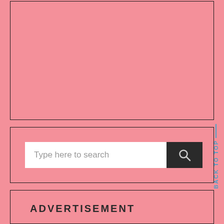[Figure (other): Large pink advertisement or placeholder box with dark border, no content inside]
[Figure (screenshot): Search bar widget with white input field showing placeholder text 'Type here to search' and a dark search button with magnifying glass icon]
[Figure (other): Pink advertisement placeholder box with dark border, partially visible at bottom showing 'ADVERTISEMENT' text]
BACK TO TOP